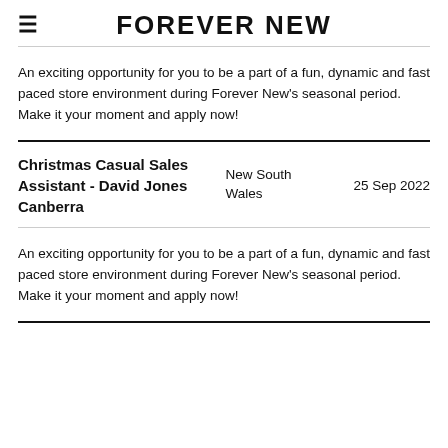FOREVER NEW
An exciting opportunity for you to be a part of a fun, dynamic and fast paced store environment during Forever New's seasonal period. Make it your moment and apply now!
Christmas Casual Sales Assistant - David Jones Canberra
New South Wales   25 Sep 2022
An exciting opportunity for you to be a part of a fun, dynamic and fast paced store environment during Forever New's seasonal period. Make it your moment and apply now!